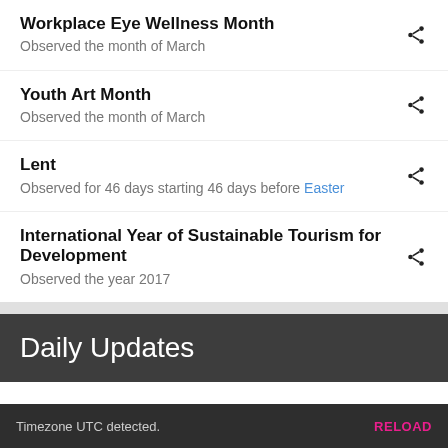Workplace Eye Wellness Month
Observed the month of March
Youth Art Month
Observed the month of March
Lent
Observed for 46 days starting 46 days before Easter
International Year of Sustainable Tourism for Development
Observed the year 2017
Daily Updates
Don't miss a beat! Subscribe to any of the following feeds for daily updates.
Timezone UTC detected.  RELOAD